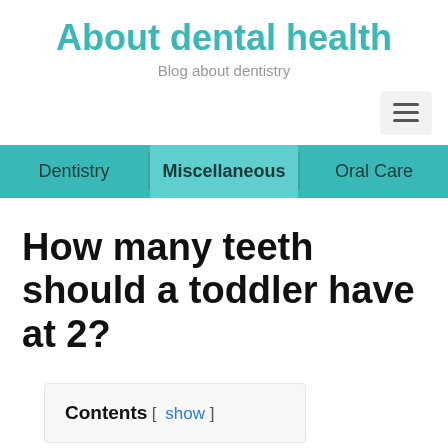About dental health
Blog about dentistry
≡
Dentistry   Miscellaneous   Oral Care
How many teeth should a toddler have at 2?
Contents [ show ]